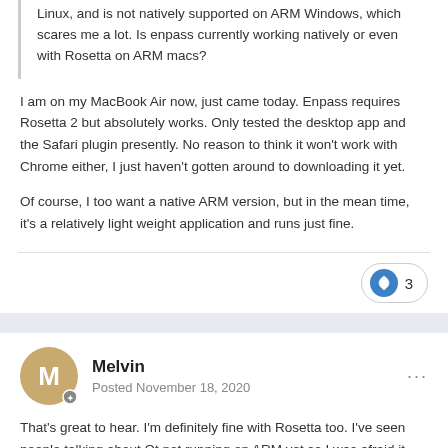Linux, and is not natively supported on ARM Windows, which scares me a lot. Is enpass currently working natively or even with Rosetta on ARM macs?
I am on my MacBook Air now, just came today. Enpass requires Rosetta 2 but absolutely works. Only tested the desktop app and the Safari plugin presently. No reason to think it won't work with Chrome either, I just haven't gotten around to downloading it yet.
Of course, I too want a native ARM version, but in the mean time, it's a relatively light weight application and runs just fine.
3
Melvin
Posted November 18, 2020
That's great to hear. I'm definitely fine with Rosetta too. I've seen people talking about Qt not running on ARM yet so I was afraid it